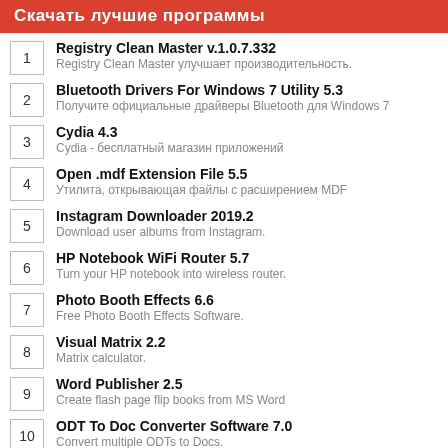Скачать лучшие программы
1. Registry Clean Master v.1.0.7.332 — Registry Clean Master улучшает производительность.
2. Bluetooth Drivers For Windows 7 Utility 5.3 — Получите официальные драйверы Bluetooth для Windows 7
3. Cydia 4.3 — Cydia - бесплатный магазин приложений
4. Open .mdf Extension File 5.5 — Утилита, открывающая файлы с расширением MDF
5. Instagram Downloader 2019.2 — Download user albums from Instagram.
6. HP Notebook WiFi Router 5.7 — Turn your HP notebook into wireless router.
7. Photo Booth Effects 6.6 — Free Photo Booth Effects Software.
8. Visual Matrix 2.2 — Matrix calculator.
9. Word Publisher 2.5 — Create flash page flip books from MS Word
10. ODT To Doc Converter Software 7.0 — Convert multiple ODTs to Docs.
11. Amazon Chess 4.0